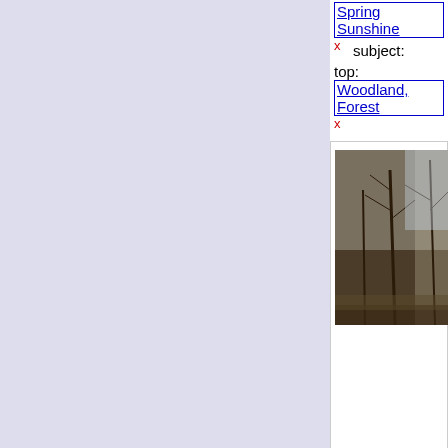Spring Sunshine x   subject:
top: Woodland, Forest x
[Figure (photo): Photo of larch trees in a woodland, showing bare branches against the sky]
Female inflorescences by Harvey geograph for square TF0 This Larch is a bit odd, for Bour the tree seen in TF0820 : A touc (more)
Tags: place: Bourne Woods
Early Spring x   Female Flo
Forestry Commission Plant:
type: Geograph x   tree: Larc
top: Lowlands x   Pink x   sea
subject: Tree x   top: Woodla
The Crossroads by Bob geograph for square TF0 Light and shade at the crossroa footpaths in Bourne Woods
Tags: Blue Sky White Clouc
place: Bourne Woods   Earl
type: Geograph x   top: Lowl
[Figure (photo): Photo of woodland crossroads with bare trees and sky visible]